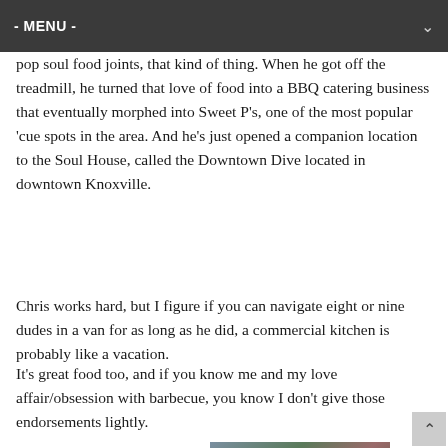- MENU -
pop soul food joints, that kind of thing. When he got off the treadmill, he turned that love of food into a BBQ catering business that eventually morphed into Sweet P’s, one of the most popular ‘cue spots in the area. And he’s just opened a companion location to the Soul House, called the Downtown Dive located in downtown Knoxville.
Chris works hard, but I figure if you can navigate eight or nine dudes in a van for as long as he did, a commercial kitchen is probably like a vacation.
It’s great food too, and if you know me and my love affair/obsession with barbecue, you know I don’t give those endorsements lightly.
I was pretty excited about Wednesday’s
[Figure (photo): Partial photo visible at bottom right of page, showing what appears to be food or interior of a restaurant, with warm tones]